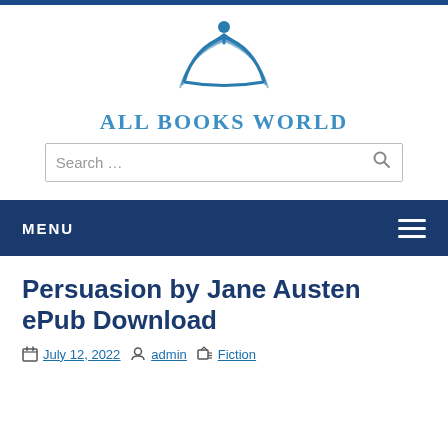[Figure (logo): All Books World logo: open book with a stylized person figure above it, in blue tones]
All Books World
Search …
MENU
Persuasion by Jane Austen ePub Download
July 12, 2022  admin  Fiction